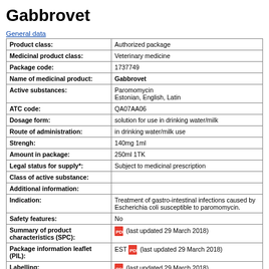Gabbrovet
General data
| Field | Value |
| --- | --- |
| Product class: | Authorized package |
| Medicinal product class: | Veterinary medicine |
| Package code: | 1737749 |
| Name of medicinal product: | Gabbrovet |
| Active substances: | Paromomycin
Estonian, English, Latin |
| ATC code: | QA07AA06 |
| Dosage form: | solution for use in drinking water/milk |
| Route of administration: | in drinking water/milk use |
| Strengh: | 140mg 1ml |
| Amount in package: | 250ml 1TK |
| Legal status for supply*: | Subject to medicinal prescription |
| Class of active substance: |  |
| Additional information: |  |
| Indication: | Treatment of gastro-intestinal infections caused by Escherichia coli susceptible to paromomycin. |
| Safety features: | No |
| Summary of product characteristics (SPC): | [PDF icon] (last updated 29 March 2018) |
| Package information leaflet (PIL): | EST [PDF icon] (last updated 29 March 2018) |
| Labelling: | [PDF icon] (last updated 29 March 2018) |